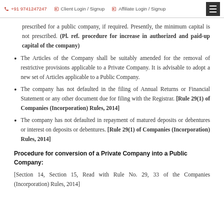+91 9741247247   Client Login / Signup   Affiliate Login / Signup
prescribed for a public company, if required. Presently, the minimum capital is not prescribed. (Pl. ref. procedure for increase in authorized and paid-up capital of the company)
The Articles of the Company shall be suitably amended for the removal of restrictive provisions applicable to a Private Company. It is advisable to adopt a new set of Articles applicable to a Public Company.
The company has not defaulted in the filing of Annual Returns or Financial Statement or any other document due for filing with the Registrar. [Rule 29(1) of Companies (Incorporation) Rules, 2014]
The company has not defaulted in repayment of matured deposits or debentures or interest on deposits or debentures. [Rule 29(1) of Companies (Incorporation) Rules, 2014]
Procedure for conversion of a Private Company into a Public Company:
[Section 14, Section 15, Read with Rule No. 29, 33 of the Companies (Incorporation) Rules, 2014]